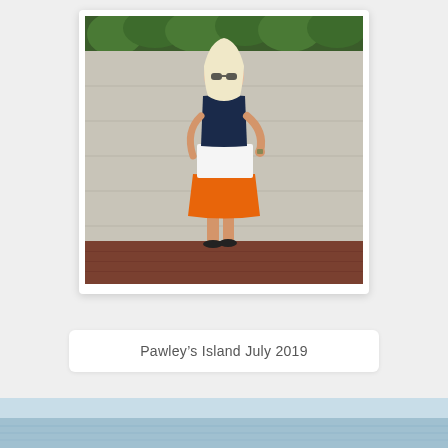[Figure (photo): A blonde woman wearing sunglasses and a colorblock sleeveless dress with navy top, white middle, and orange bottom section, standing in front of a concrete wall with ivy at top, on brick pavement. She has one hand on hip and is wearing flip flops.]
Pawley's Island July 2019
[Figure (photo): Partial view of a second photo at the bottom of the page, appears to show water or a pool scene.]